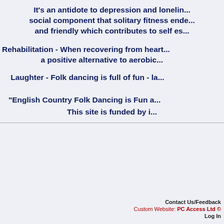It's an antidote to depression and lonelin... social component that solitary fitness ende... and friendly which contributes to self es...
Rehabilitation - When recovering from heart... a positive alternative to aerobic...
Laughter - Folk dancing is full of fun - la...
"English Country Folk Dancing is Fun a...
This site is funded by i...
Contact Us/Feedback
Custom Website: PC Access Ltd ©
Log In